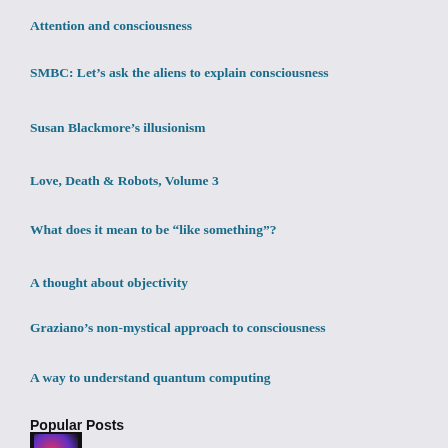Attention and consciousness
SMBC: Let's ask the aliens to explain consciousness
Susan Blackmore's illusionism
Love, Death & Robots, Volume 3
What does it mean to be “like something”?
A thought about objectivity
Graziano’s non-mystical approach to consciousness
A way to understand quantum computing
Popular Posts
Mind uploading and the philosophy of self